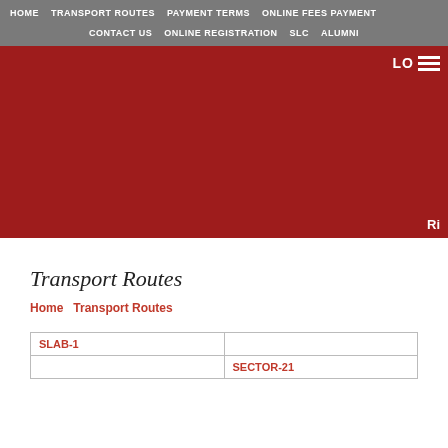HOME  TRANSPORT ROUTES  PAYMENT TERMS  ONLINE FEES PAYMENT  CONTACT US  ONLINE REGISTRATION  SLC  ALUMNI
[Figure (screenshot): Red banner with logo text 'LO' and hamburger menu icon, and 'Ri' text at bottom right]
Transport Routes
Home  Transport Routes
| SLAB-1 |  |
|  | SECTOR-21 |